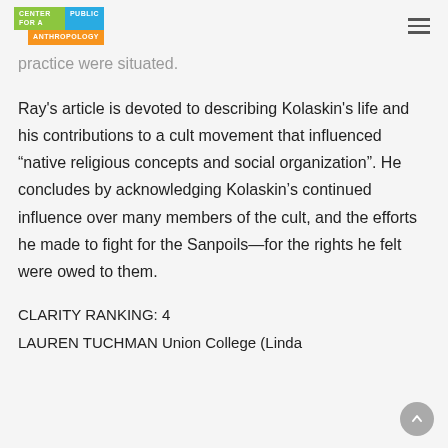CENTER FOR A PUBLIC ANTHROPOLOGY
practice were situated.
Ray's article is devoted to describing Kolaskin's life and his contributions to a cult movement that influenced “native religious concepts and social organization”. He concludes by acknowledging Kolaskin’s continued influence over many members of the cult, and the efforts he made to fight for the Sanpoils—for the rights he felt were owed to them.
CLARITY RANKING: 4
LAUREN TUCHMAN Union College (Linda